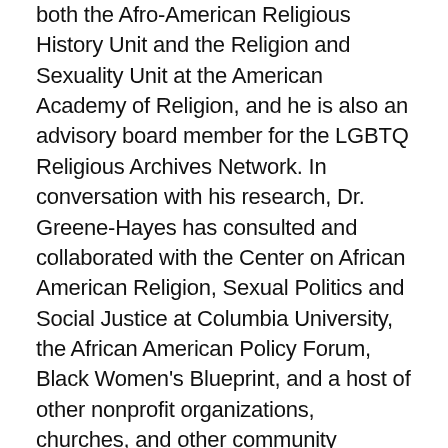both the Afro-American Religious History Unit and the Religion and Sexuality Unit at the American Academy of Religion, and he is also an advisory board member for the LGBTQ Religious Archives Network. In conversation with his research, Dr. Greene-Hayes has consulted and collaborated with the Center on African American Religion, Sexual Politics and Social Justice at Columbia University, the African American Policy Forum, Black Women's Blueprint, and a host of other nonprofit organizations, churches, and other community institutions.
In addition, Dr. Greene-Hayes is at work on a second book project which is a survey of the history of sex, sexualities, and sexual ethics in Black Atlantic religions from the era of enslavement to the emergence of sexually transgressive practices in early twentieth century new religious movements. With the...